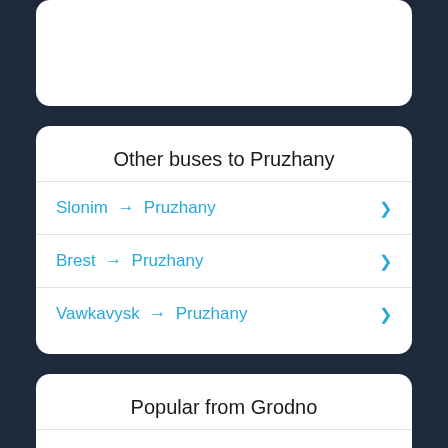Other buses to Pruzhany
Slonim → Pruzhany
Brest → Pruzhany
Vawkavysk → Pruzhany
Popular from Grodno
Grodno → Warszawa
Grodno → Bialystok
Grodno → Minsk